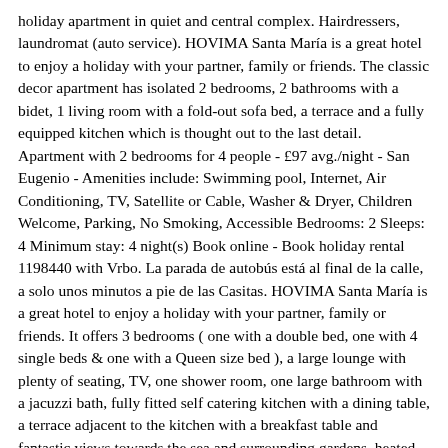holiday apartment in quiet and central complex. Hairdressers, laundromat (auto service). HOVIMA Santa María is a great hotel to enjoy a holiday with your partner, family or friends. The classic decor apartment has isolated 2 bedrooms, 2 bathrooms with a bidet, 1 living room with a fold-out sofa bed, a terrace and a fully equipped kitchen which is thought out to the last detail. Apartment with 2 bedrooms for 4 people - £97 avg./night - San Eugenio - Amenities include: Swimming pool, Internet, Air Conditioning, TV, Satellite or Cable, Washer & Dryer, Children Welcome, Parking, No Smoking, Accessible Bedrooms: 2 Sleeps: 4 Minimum stay: 4 night(s) Book online - Book holiday rental 1198440 with Vrbo. La parada de autobús está al final de la calle, a solo unos minutos a pie de las Casitas. HOVIMA Santa María is a great hotel to enjoy a holiday with your partner, family or friends. It offers 3 bedrooms ( one with a double bed, one with 4 single beds & one with a Queen size bed ), a large lounge with plenty of seating, TV, one shower room, one large bathroom with a jacuzzi bath, fully fitted self catering kitchen with a dining table, a terrace adjacent to the kitchen with a breakfast table and fantastic views towards the sea and surrounding gardens, heated exercise/splash pool, pool deck with loungers, BBQ facilities & a free WiFi. Studio apartment for sale in Costa Adeje, Tenerife. This home is set in a picturesque & historical village of San Miguel de Abona just 15 minutes from the airport & El Medano beach (famous for water sports/activities) and about 25 minutes from Los Cristianos/Las Americas. No